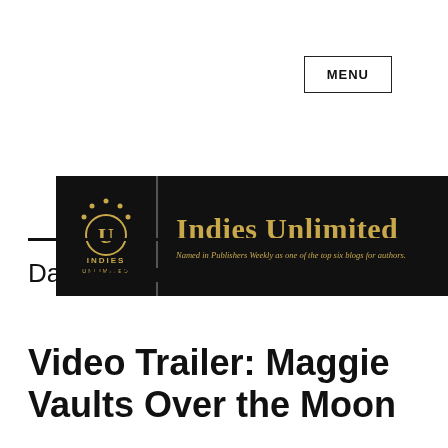MENU
[Figure (logo): Indies Unlimited logo banner — black background with gold 'Indies Unlimited' text and circular badge logo on the left. Subtitle: 'Named in Publishers Weekly as one of the top six blogs for authors.']
Day: February 8, 2013
Video Trailer: Maggie Vaults Over the Moon